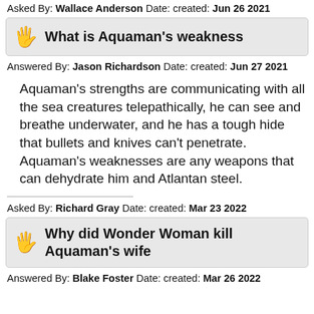Asked By: Wallace Anderson Date: created: Jun 26 2021
What is Aquaman's weakness
Answered By: Jason Richardson Date: created: Jun 27 2021
Aquaman's strengths are communicating with all the sea creatures telepathically, he can see and breathe underwater, and he has a tough hide that bullets and knives can't penetrate. Aquaman's weaknesses are any weapons that can dehydrate him and Atlantan steel.
Asked By: Richard Gray Date: created: Mar 23 2022
Why did Wonder Woman kill Aquaman's wife
Answered By: Blake Foster Date: created: Mar 26 2022